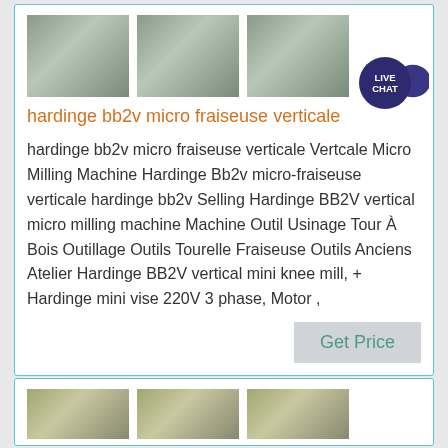[Figure (photo): Three photos of industrial milling machine equipment (hardinge bb2v micro fraiseuse verticale) shown side by side, with a Live Chat badge overlay in top right]
hardinge bb2v micro fraiseuse verticale
hardinge bb2v micro fraiseuse verticale Vertcale Micro Milling Machine Hardinge Bb2v micro-fraiseuse verticale hardinge bb2v Selling Hardinge BB2V vertical micro milling machine Machine Outil Usinage Tour À Bois Outillage Outils Tourelle Fraiseuse Outils Anciens Atelier Hardinge BB2V vertical mini knee mill, + Hardinge mini vise 220V 3 phase, Motor ,
[Figure (illustration): Get Price button — light gray rectangular button with teal/green text]
[Figure (photo): Three photos of industrial pressure vessel / tank equipment shown side by side at bottom of page]